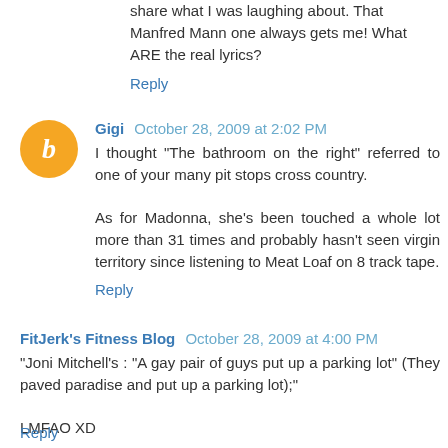share what I was laughing about. That Manfred Mann one always gets me! What ARE the real lyrics?
Reply
Gigi  October 28, 2009 at 2:02 PM
I thought "The bathroom on the right" referred to one of your many pit stops cross country.

As for Madonna, she's been touched a whole lot more than 31 times and probably hasn't seen virgin territory since listening to Meat Loaf on 8 track tape.
Reply
FitJerk's Fitness Blog  October 28, 2009 at 4:00 PM
"Joni Mitchell's : "A gay pair of guys put up a parking lot" (They paved paradise and put up a parking lot);"

LMFAO XD
Reply